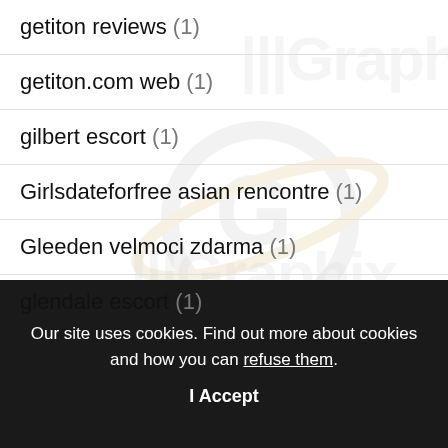getiton reviews (1)
getiton.com web (1)
gilbert escort (1)
Girlsdateforfree asian rencontre (1)
Gleeden velmoci zdarma (1)
glendale escort (1)
Our site uses cookies. Find out more about cookies and how you can refuse them.
I Accept